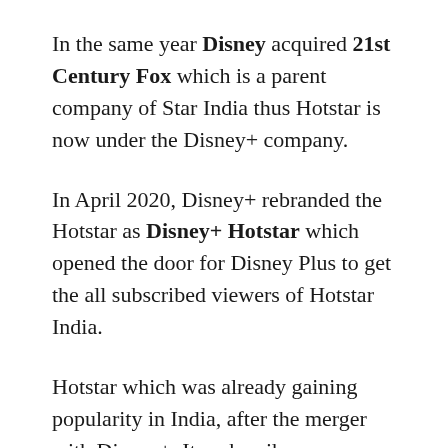In the same year Disney acquired 21st Century Fox which is a parent company of Star India thus Hotstar is now under the Disney+ company.
In April 2020, Disney+ rebranded the Hotstar as Disney+ Hotstar which opened the door for Disney Plus to get the all subscribed viewers of Hotstar India.
Hotstar which was already gaining popularity in India, after the merger with Disney+. Its subscribers increased because Disney Plus included all of the content of